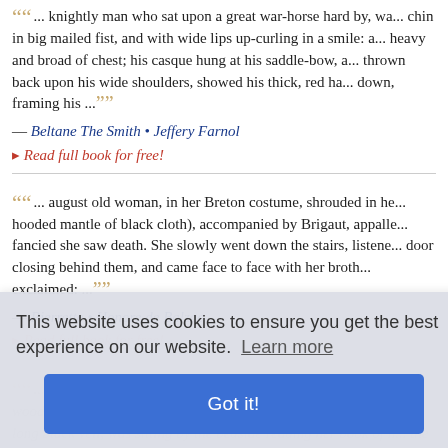... knightly man who sat upon a great war-horse hard by, wa... chin in big mailed fist, and with wide lips up-curling in a smile: a... heavy and broad of chest; his casque hung at his saddle-bow, a... thrown back upon his wide shoulders, showed his thick, red ha... down, framing his ...
— Beltane The Smith • Jeffery Farnol
▸ Read full book for free!
... august old woman, in her Breton costume, shrouded in he... hooded mantle of black cloth), accompanied by Brigaut, appalle... fancied she saw death. She slowly went down the stairs, listene... door closing behind them, and came face to face with her broth... exclaimed: ...
— Pierrette • Honore de Balzac
▸ Read full book for free!
... from a long sleep. The low sun was shining into the cell, li... wooden crucifix on the white-washed wall; Soeur Lucie, in her s... long black veil, was sitting by the bedside reading her book of h... the window could be seen a strip of blue sky crossed by some b... the convent garden, little birds were beginning to chirp and twit...
This website uses cookies to ensure you get the best experience on our website. Learn more
Got it!